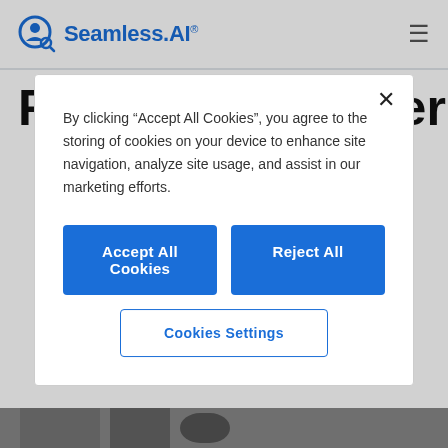Seamless.AI® [hamburger menu]
Related Customer
By clicking “Accept All Cookies”, you agree to the storing of cookies on your device to enhance site navigation, analyze site usage, and assist in our marketing efforts.
Accept All Cookies
Reject All
Cookies Settings
[Figure (photo): Bottom strip showing a partial photo of a person]